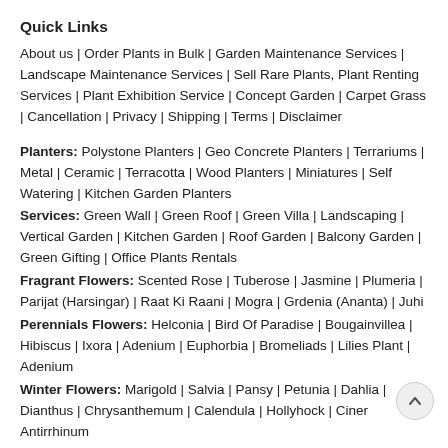Quick Links
About us | Order Plants in Bulk | Garden Maintenance Services | Landscape Maintenance Services | Sell Rare Plants, Plant Renting Services | Plant Exhibition Service | Concept Garden | Carpet Grass | Cancellation | Privacy | Shipping | Terms | Disclaimer
Planters: Polystone Planters | Geo Concrete Planters | Terrariums | Metal | Ceramic | Terracotta | Wood Planters | Miniatures | Self Watering | Kitchen Garden Planters
Services: Green Wall | Green Roof | Green Villa | Landscaping | Vertical Garden | Kitchen Garden | Roof Garden | Balcony Garden | Green Gifting | Office Plants Rentals
Fragrant Flowers: Scented Rose | Tuberose | Jasmine | Plumeria | Parijat (Harsingar) | Raat Ki Raani | Mogra | Grdenia (Ananta) | Juhi
Perennials Flowers: Helconia | Bird Of Paradise | Bougainvillea | Hibiscus | Ixora | Adenium | Euphorbia | Bromeliads | Lilies Plant | Adenium
Winter Flowers: Marigold | Salvia | Pansy | Petunia | Dahlia | Dianthus | Chrysanthemum | Calendula | Hollyhock | Cinera Antirrhinum